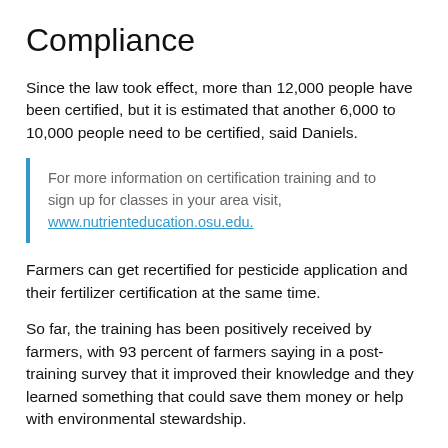Compliance
Since the law took effect, more than 12,000 people have been certified, but it is estimated that another 6,000 to 10,000 people need to be certified, said Daniels.
For more information on certification training and to sign up for classes in your area visit, www.nutrienteducation.osu.edu.
Farmers can get recertified for pesticide application and their fertilizer certification at the same time.
So far, the training has been positively received by farmers, with 93 percent of farmers saying in a post-training survey that it improved their knowledge and they learned something that could save them money or help with environmental stewardship.